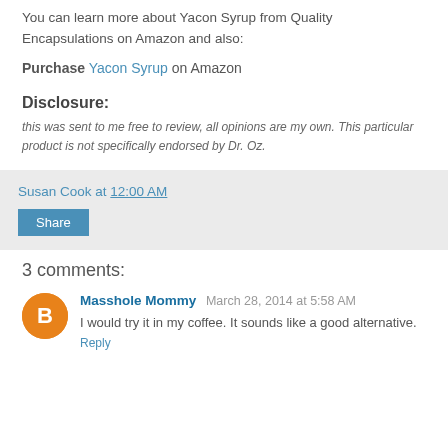You can learn more about Yacon Syrup from Quality Encapsulations on Amazon and also:
Purchase Yacon Syrup on Amazon
Disclosure:
this was sent to me free to review, all opinions are my own. This particular product is not specifically endorsed by Dr. Oz.
Susan Cook at 12:00 AM
Share
3 comments:
Masshole Mommy March 28, 2014 at 5:58 AM
I would try it in my coffee. It sounds like a good alternative.